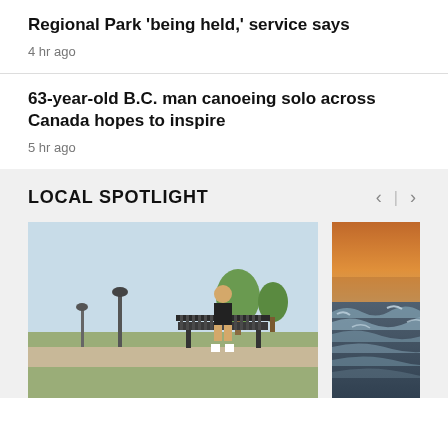... that partially crossed Wells Lake Regional Park 'being held,' service says
4 hr ago
63-year-old B.C. man canoeing solo across Canada hopes to inspire
5 hr ago
LOCAL SPOTLIGHT
[Figure (photo): Person sitting on a park bench outdoors, sunny day with trees and grass in background]
[Figure (photo): Waves on a body of water at sunset with orange sky]